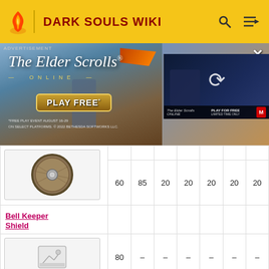DARK SOULS WIKI
[Figure (screenshot): Advertisement banner for The Elder Scrolls Online 'Play Free' event with battle scene imagery and a video thumbnail overlay showing a refresh icon]
| Item | Col1 | Col2 | Col3 | Col4 | Col5 | Col6 | Col7 |
| --- | --- | --- | --- | --- | --- | --- | --- |
| [Shield image] |  |  |  |  |  |  |  |
|  | 60 | 85 | 20 | 20 | 20 | 20 | 20 |
| Bell Keeper Shield |  |  |  |  |  |  |  |
| [Image placeholder] | 80 | – | – | – | – | – | – |